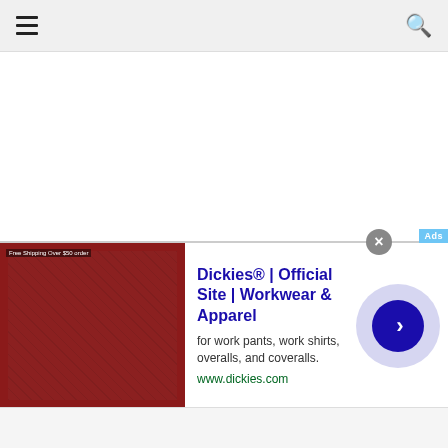Navigation bar with hamburger menu and search icon
[Figure (screenshot): White empty content area below navigation bar]
[Figure (infographic): Advertisement banner for Dickies. Shows a leather product image on the left, ad text in the center reading 'Dickies® | Official Site | Workwear & Apparel', description 'for work pants, work shirts, overalls, and coveralls.', URL 'www.dickies.com', and a circular navigation arrow button on the right. Close button (X) in gray circle at top right of banner. Ad label in blue at top right corner.]
Gray footer bar at bottom of page